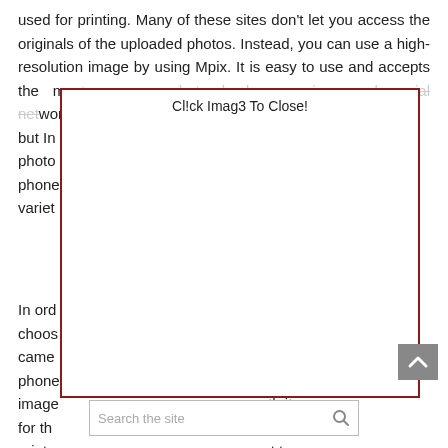used for printing. Many of these sites don't let you access the originals of the uploaded photos. Instead, you can use a high-resolution image by using Mpix. It is easy to use and accepts the most common photo backup services and social networks, but In your photo from phone get a variety
[Figure (screenshot): A modal dialog overlay with a dark red border showing the text 'Cl!ck Imag3 To Close!' at the top, covering part of the body text behind it.]
In order to ed to choos frame came n cell phone quality image orth it for th your printe ant to print a specific image, you can choose the size and format.
[Figure (screenshot): A dark grey scroll-to-top button with an upward chevron arrow, positioned in the bottom right.]
[Figure (screenshot): A search bar with placeholder text 'Search the site' and a search icon on the right.]